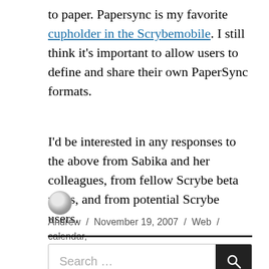to paper. Papersync is my favorite cupholder in the Scrybemobile. I still think it's important to allow users to define and share their own PaperSync formats.
I'd be interested in any responses to the above from Sabika and her colleagues, from fellow Scrybe beta users, and from potential Scrybe users.
Andrew / November 19, 2007 / Web / calendar, iscrybe, scrybe